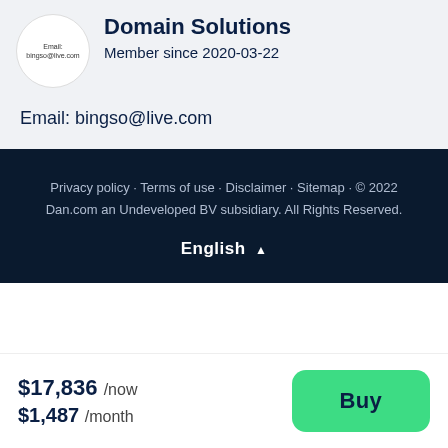[Figure (logo): Circular avatar with text 'Email: bingso@live.com']
Domain Solutions
Member since 2020-03-22
Email: bingso@live.com
Privacy policy · Terms of use · Disclaimer · Sitemap · © 2022 Dan.com an Undeveloped BV subsidiary. All Rights Reserved.
English ▲
$17,836 /now
$1,487 /month
Buy